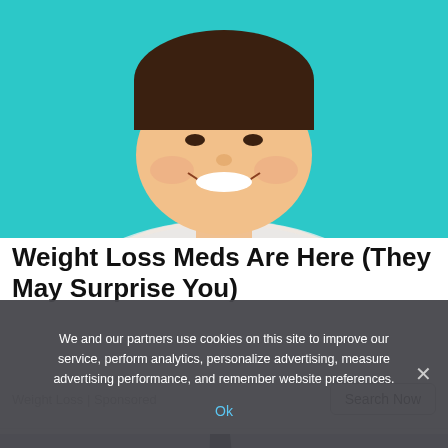[Figure (photo): Smiling overweight woman against a teal/cyan background]
Weight Loss Meds Are Here (They May Surprise You)
Weight Loss | Sponsored
Search Now
[Figure (photo): Person in a light blue shirt holding a fork with a cherry tomato on it]
We and our partners use cookies on this site to improve our service, perform analytics, personalize advertising, measure advertising performance, and remember website preferences.
Ok